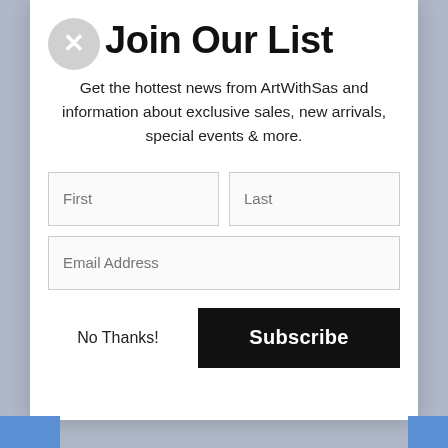Join Our List
Get the hottest news from ArtWithSas and information about exclusive sales, new arrivals, special events & more.
[Figure (screenshot): Email subscription form with First, Last, and Email Address input fields, a No Thanks! link, and a Subscribe button.]